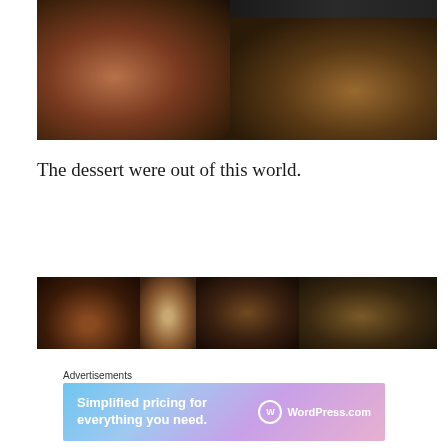[Figure (photo): Food photos: left shows salmon dish on plate with cream sauce, right column shows dark scene on top and grilled fish dish on bottom]
The dessert were out of this world.
[Figure (photo): Four food photos showing dessert dishes on restaurant table]
Advertisements
[Figure (screenshot): WordPress.com advertisement: Simplified pricing for everything you need.]